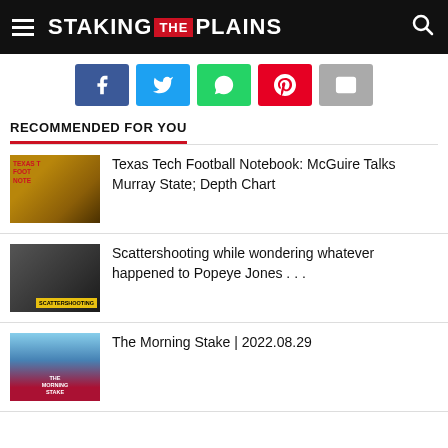STAKING THE PLAINS
RECOMMENDED FOR YOU
Texas Tech Football Notebook: McGuire Talks Murray State; Depth Chart
Scattershooting while wondering whatever happened to Popeye Jones . . .
The Morning Stake | 2022.08.29